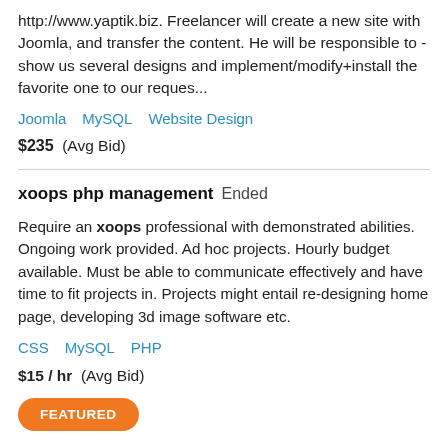http://www.yaptik.biz. Freelancer will create a new site with Joomla, and transfer the content. He will be responsible to - show us several designs and implement/modify+install the favorite one to our reques...
Joomla   MySQL   Website Design
$235  (Avg Bid)
xoops php management  Ended
Require an xoops professional with demonstrated abilities. Ongoing work provided. Ad hoc projects. Hourly budget available. Must be able to communicate effectively and have time to fit projects in. Projects might entail re-designing home page, developing 3d image software etc.
CSS   MySQL   PHP
$15 / hr  (Avg Bid)
FEATURED